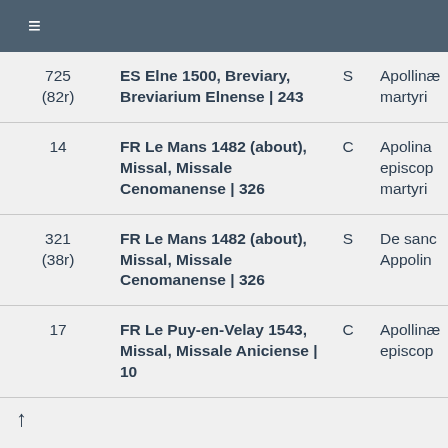≡
|  | Source | Type | Content |
| --- | --- | --- | --- |
| 725 (82r) | ES Elne 1500, Breviary, Breviarium Elnense | 243 | S | Apollinaris martyri |
| 14 | FR Le Mans 1482 (about), Missal, Missale Cenomanense | 326 | C | Apolina, episcop, martyri |
| 321 (38r) | FR Le Mans 1482 (about), Missal, Missale Cenomanense | 326 | S | De sanc Appolin |
| 17 | FR Le Puy-en-Velay 1543, Missal, Missale Aniciense | 10 | C | Apollina, episcop |